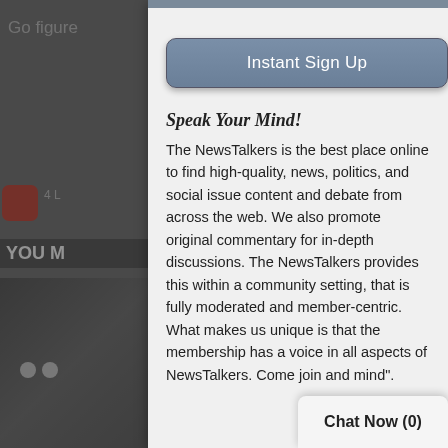[Figure (screenshot): Background mobile app screenshot showing a social news website (NewsTalkers) with darkened overlay]
Go figure
[Figure (screenshot): Modal dialog overlay on mobile app with Instant Sign Up button, Speak Your Mind heading, and descriptive text about NewsTalkers]
Instant Sign Up
Speak Your Mind!
The NewsTalkers is the best place online to find high-quality, news, politics, and social issue content and debate from across the web. We also promote original commentary for in-depth discussions. The NewsTalkers provides this within a community setting, that is fully moderated and member-centric. What makes us unique is that the membership has a voice in all aspects of NewsTalkers. Come join and mind".
Chat Now (0)